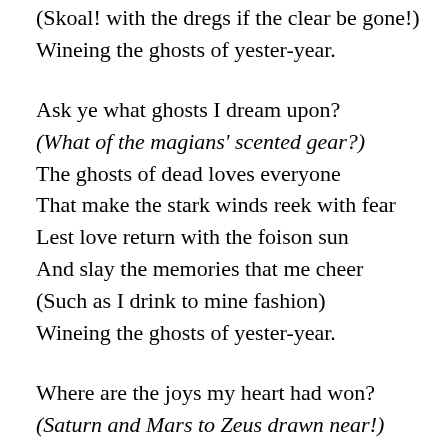(Skoal! with the dregs if the clear be gone!)
Wineing the ghosts of yester-year.

Ask ye what ghosts I dream upon?
(What of the magians' scented gear?)
The ghosts of dead loves everyone
That make the stark winds reek with fear
Lest love return with the foison sun
And slay the memories that me cheer
(Such as I drink to mine fashion)
Wineing the ghosts of yester-year.

Where are the joys my heart had won?
(Saturn and Mars to Zeus drawn near!)
Where are the lips mine lay upon,
And where are the glances fast and clear